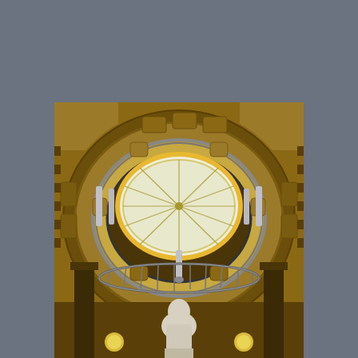Museo de Sciencias Naturales, founded by Perito Moreno in 1884
[Figure (photo): Interior upward-looking view of the dome of the Museo de Ciencias Naturales, showing an ornate oval skylight with yellow and white stained glass and radiating spokes, surrounded by concentric decorated rings, columns, and a white marble bust sculpture at the bottom center.]